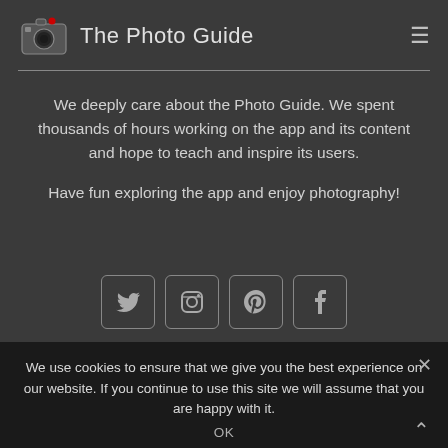The Photo Guide
We deeply care about the Photo Guide. We spent thousands of hours working on the app and its content and hope to teach and inspire its users.

Have fun exploring the app and enjoy photography!
[Figure (screenshot): Four social media icons in rounded square boxes: Twitter (bird), Instagram (camera), Pinterest (P), Facebook (f)]
We use cookies to ensure that we give you the best experience on our website. If you continue to use this site we will assume that you are happy with it.
OK